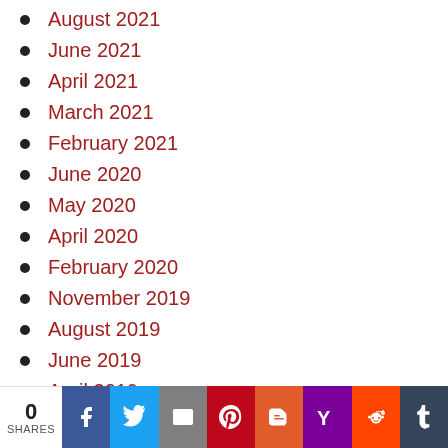August 2021
June 2021
April 2021
March 2021
February 2021
June 2020
May 2020
April 2020
February 2020
November 2019
August 2019
June 2019
April 2019
March 2019
0 SHARES | Facebook | Twitter | Email | Pinterest | Blogger | Yahoo | Reddit | Tumblr